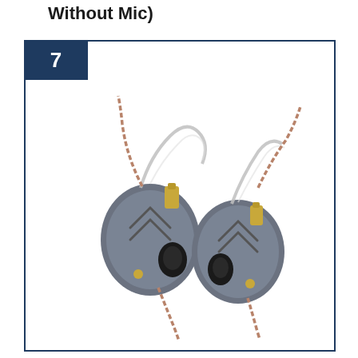Without Mic)
[Figure (photo): A pair of KZ ZSN Pro in-ear monitors (IEMs) with gunmetal grey metal shells featuring a chevron/arrow design, black ear tips, clear memory wire ear hooks, and a twisted brown/copper-colored cable. The earphones are shown side by side without a microphone.]